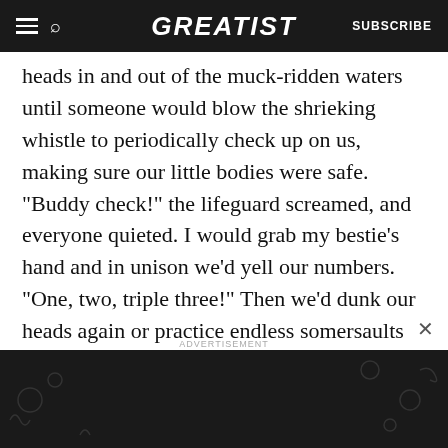GREATIST | SUBSCRIBE
heads in and out of the muck-ridden waters until someone would blow the shrieking whistle to periodically check up on us, making sure our little bodies were safe.

"Buddy check!" the lifeguard screamed, and everyone quieted. I would grab my bestie's hand and in unison we'd yell our numbers. "One, two, triple three!" Then we'd dunk our heads again or practice endless somersaults and watch the sun's rays refract off the water. We'd play in the
[Figure (infographic): Advertisement banner: dark background with decorative health-themed doodles. Text reads 'Let's be friends with (health) benefits. Follow GREATIST on Instagram' with a teal 'FOLLOW US' button.]